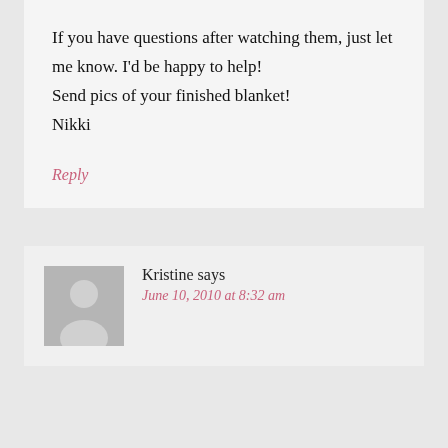If you have questions after watching them, just let me know. I'd be happy to help!
Send pics of your finished blanket!
Nikki
Reply
Kristine says
June 10, 2010 at 8:32 am